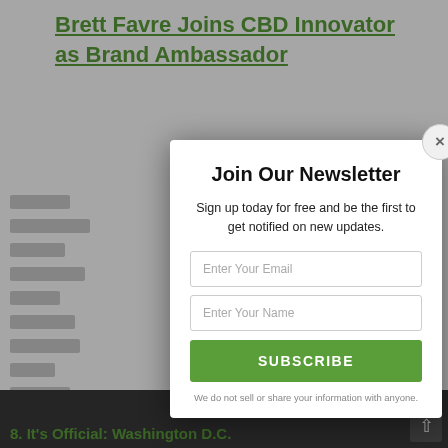Brett Favre Joins CBD Innovator as Brand Ambassador
[Figure (screenshot): Newsletter signup modal overlay on a web page. Modal contains a title 'Join Our Newsletter', subtitle text, email and name input fields, a green SUBSCRIBE button, and privacy notice.]
Join Our Newsletter
Sign up today for free and be the first to get notified on new updates.
Enter Your Email
Enter Your Name
SUBSCRIBE
We do not sell or share your information with anyone.
8. It's Official: Washington D.C.